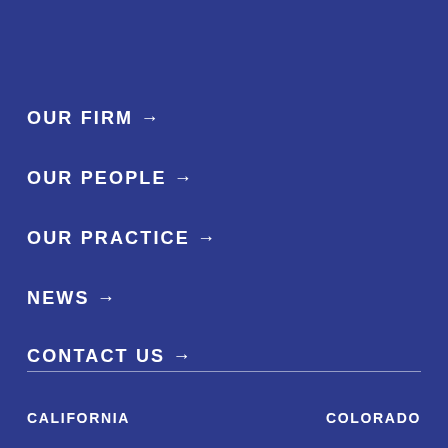OUR FIRM →
OUR PEOPLE →
OUR PRACTICE →
NEWS →
CONTACT US →
CALIFORNIA    COLORADO